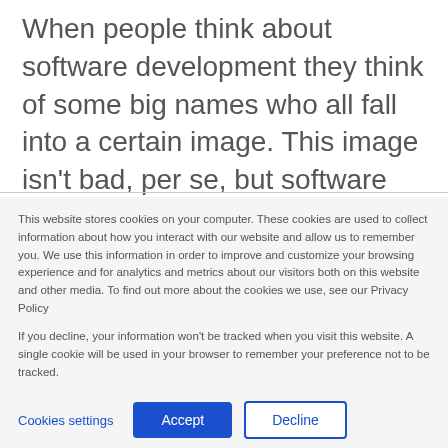When people think about software development they think of some big names who all fall into a certain image. This image isn't bad, per se, but software development transcends this image, especially in the context of offshore software development.
This website stores cookies on your computer. These cookies are used to collect information about how you interact with our website and allow us to remember you. We use this information in order to improve and customize your browsing experience and for analytics and metrics about our visitors both on this website and other media. To find out more about the cookies we use, see our Privacy Policy
If you decline, your information won't be tracked when you visit this website. A single cookie will be used in your browser to remember your preference not to be tracked.
Cookies settings | Accept | Decline